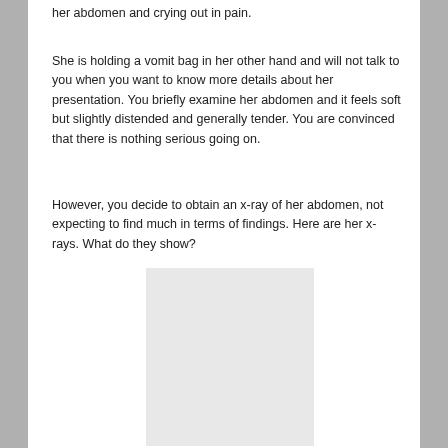her abdomen and crying out in pain.
She is holding a vomit bag in her other hand and will not talk to you when you want to know more details about her presentation. You briefly examine her abdomen and it feels soft but slightly distended and generally tender. You are convinced that there is nothing serious going on.
However, you decide to obtain an x-ray of her abdomen, not expecting to find much in terms of findings. Here are her x-rays. What do they show?
[Figure (photo): X-ray image placeholder (light gray rectangle representing an abdominal x-ray image)]